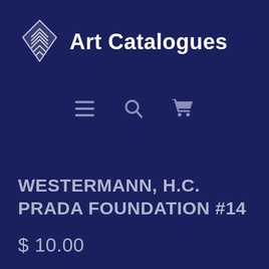[Figure (logo): Art Catalogues logo: a white diamond/kite shape with layered chevron lines inside, followed by bold white text 'Art Catalogues']
[Figure (infographic): Navigation icons: hamburger menu (three horizontal lines), magnifying glass/search icon, and shopping cart icon, all in muted grey-blue on dark navy background]
WESTERMANN, H.C. PRADA FOUNDATION #14
$ 10.00